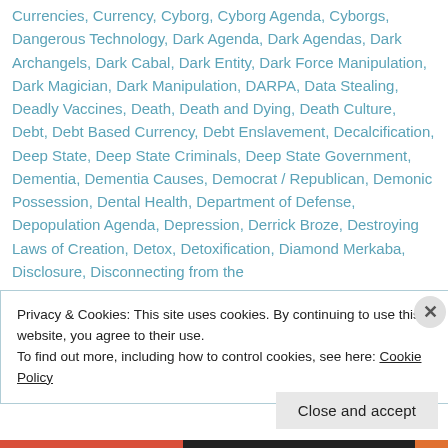Currencies, Currency, Cyborg, Cyborg Agenda, Cyborgs, Dangerous Technology, Dark Agenda, Dark Agendas, Dark Archangels, Dark Cabal, Dark Entity, Dark Force Manipulation, Dark Magician, Dark Manipulation, DARPA, Data Stealing, Deadly Vaccines, Death, Death and Dying, Death Culture, Debt, Debt Based Currency, Debt Enslavement, Decalcification, Deep State, Deep State Criminals, Deep State Government, Dementia, Dementia Causes, Democrat / Republican, Demonic Possession, Dental Health, Department of Defense, Depopulation Agenda, Depression, Derrick Broze, Destroying Laws of Creation, Detox, Detoxification, Diamond Merkaba, Disclosure, Disconnecting from the
Privacy & Cookies: This site uses cookies. By continuing to use this website, you agree to their use.
To find out more, including how to control cookies, see here: Cookie Policy